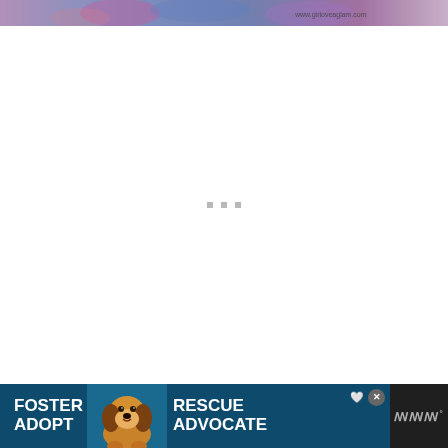[Figure (photo): Partial top of a fashion photo showing colorful floral/abstract print clothing, with URL watermark 'www.girloveglamr.com' in bottom right corner]
[Figure (other): Large white content area with three small gray loading dots centered in the middle, indicating a loading/placeholder state]
[Figure (other): Dark advertisement banner at the bottom showing 'FOSTER ADOPT' on the left, a beagle dog photo in the center, 'RESCUE ADVOCATE' on the right with a close button, heart icon, and a dark side panel with 'iii°' symbol]